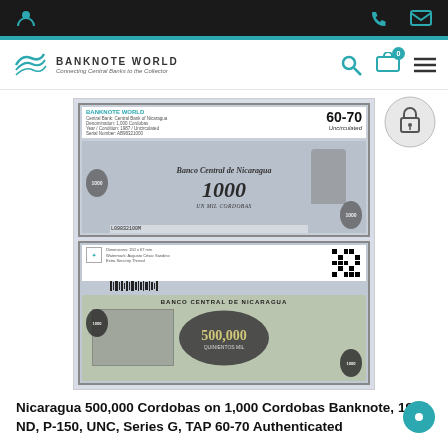Banknote World — Connecting Central Banks to the Collector
[Figure (photo): Product listing page from Banknote World website showing front and back of Nicaragua 500,000 Cordobas on 1,000 Cordobas banknote with TAP 60-70 grading label]
Nicaragua 500,000 Cordobas on 1,000 Cordobas Banknote, 1987 ND, P-150, UNC, Series G, TAP 60-70 Authenticated